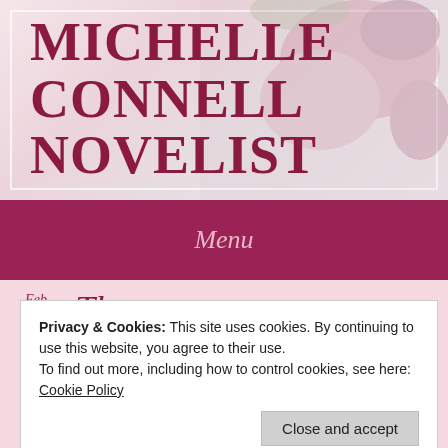MICHELLE CONNELL NOVELIST
Menu
Feb
Privacy & Cookies: This site uses cookies. By continuing to use this website, you agree to their use.
To find out more, including how to control cookies, see here: Cookie Policy
Close and accept
Hello Readers,